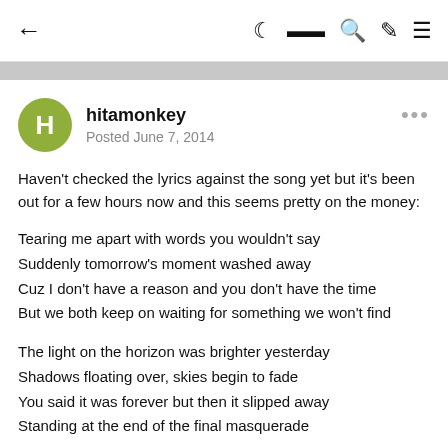← (back) | (moon icon) (article icon) (search icon) (brush icon) (menu icon)
hitamonkey
Posted June 7, 2014
Haven't checked the lyrics against the song yet but it's been out for a few hours now and this seems pretty on the money:
Tearing me apart with words you wouldn't say
Suddenly tomorrow's moment washed away
Cuz I don't have a reason and you don't have the time
But we both keep on waiting for something we won't find

The light on the horizon was brighter yesterday
Shadows floating over, skies begin to fade
You said it was forever but then it slipped away
Standing at the end of the final masquerade

All I've ever wanted, the secrets that you keep